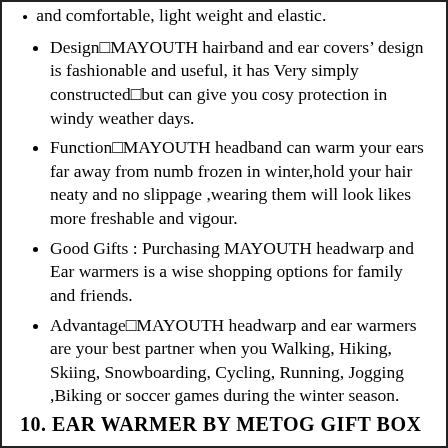Design□MAYOUTH hairband and ear covers' design is fashionable and useful, it has Very simply constructed□but can give you cosy protection in windy weather days.
Function□MAYOUTH headband can warm your ears far away from numb frozen in winter,hold your hair neaty and no slippage ,wearing them will look likes more freshable and vigour.
Good Gifts : Purchasing MAYOUTH headwarp and Ear warmers is a wise shopping options for family and friends.
Advantage□MAYOUTH headwarp and ear warmers are your best partner when you Walking, Hiking, Skiing, Snowboarding, Cycling, Running, Jogging ,Biking or soccer games during the winter season.
10. EAR WARMER BY METOG GIFT BOX